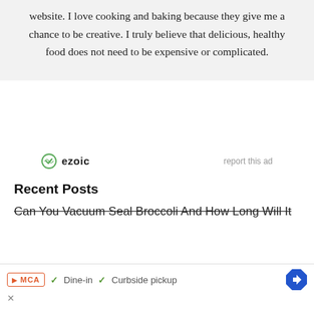website. I love cooking and baking because they give me a chance to be creative. I truly believe that delicious, healthy food does not need to be expensive or complicated.
[Figure (logo): Ezoic logo with circular icon and 'ezoic' text, alongside 'report this ad' link]
Recent Posts
Can You Vacuum Seal Broccoli And How Long Will It
[Figure (screenshot): Bottom ad bar with MCA badge, Dine-in and Curbside pickup checkmarks, navigation diamond icon, and close button]